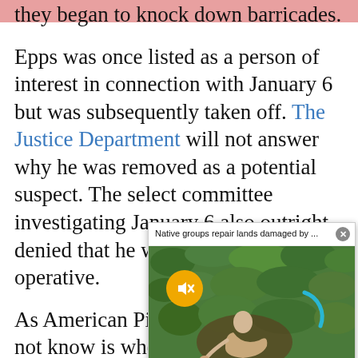they began to knock down barricades.
Epps was once listed as a person of interest in connection with January 6 but was subsequently taken off. The Justice Department will not answer why he was removed as a potential suspect. The select committee investigating January 6 also outright denied that he was a federal operative.
[Figure (photo): Video popup overlay showing 'Native groups repair lands damaged by ...' with a photo of a person crouching in green foliage, a yellow mute button, and a close (X) button.]
As American Pige... not know is whethe... Nancy Pelosi and h... denied Trump's req... ahead of the January 6 protests. Ex Police Chief Steven Sund says that his request for the